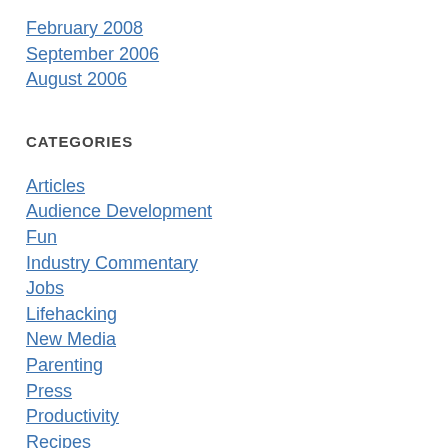February 2008
September 2006
August 2006
CATEGORIES
Articles
Audience Development
Fun
Industry Commentary
Jobs
Lifehacking
New Media
Parenting
Press
Productivity
Recipes
Strategy